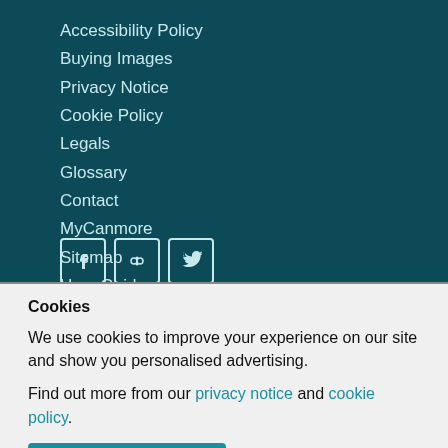Accessibility Policy
Buying Images
Privacy Notice
Cookie Policy
Legals
Glossary
Contact
MyCanmore
Sitemap
User Guide
Takedown Policy
[Figure (other): Social media icons: Facebook, Flickr, Twitter]
Cookies
We use cookies to improve your experience on our site and show you personalised advertising.
Find out more from our privacy notice and cookie policy.
Accept all and close  Your options